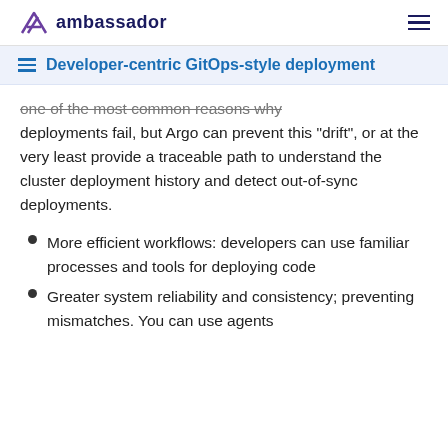ambassador
Developer-centric GitOps-style deployment
one of the most common reasons why deployments fail, but Argo can prevent this "drift", or at the very least provide a traceable path to understand the cluster deployment history and detect out-of-sync deployments.
More efficient workflows: developers can use familiar processes and tools for deploying code
Greater system reliability and consistency; preventing mismatches. You can use agents